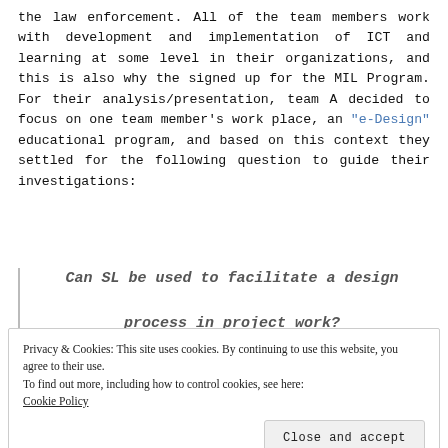the law enforcement. All of the team members work with development and implementation of ICT and learning at some level in their organizations, and this is also why the signed up for the MIL Program. For their analysis/presentation, team A decided to focus on one team member's work place, an "e-Design" educational program, and based on this context they settled for the following question to guide their investigations:
Can SL be used to facilitate a design process in project work?
Privacy & Cookies: This site uses cookies. By continuing to use this website, you agree to their use.
To find out more, including how to control cookies, see here:
Cookie Policy
Close and accept
supplement to f2f and other technologies. The Team A